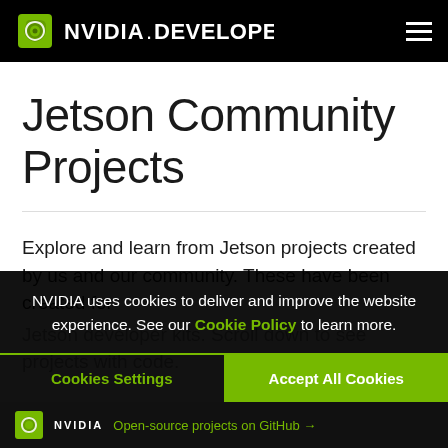NVIDIA.DEVELOPER
Jetson Community Projects
Explore and learn from Jetson projects created by us and our community. These have been created for Jetson developer kits. Scroll down to see projects with code.
NVIDIA uses cookies to deliver and improve the website experience. See our Cookie Policy to learn more.
Cookies Settings   Accept All Cookies
Open-source projects on GitHub →